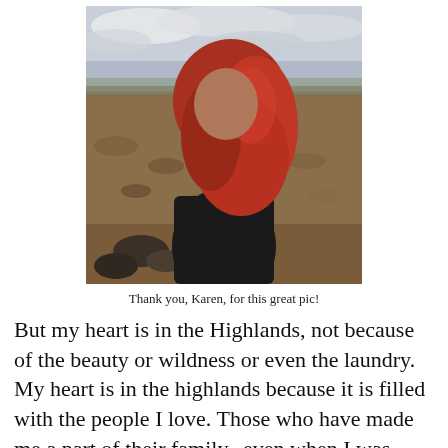[Figure (photo): A person with long red hair wearing a black jacket, viewed from behind, looking out over a rocky highland landscape with an overcast sky.]
Thank you, Karen, for this great pic!
But my heart is in the Highlands, not because of the beauty or wildness or even the laundry. My heart is in the highlands because it is filled with the people I love. Those who have made me a part of their family--even when I was